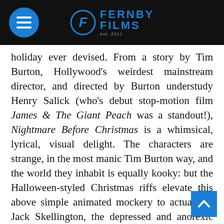Fernby Films
holiday ever devised. From a story by Tim Burton, Hollywood's weirdest mainstream director, and directed by Burton understudy Henry Salick (who's debut stop-motion film James & The Giant Peach was a standout!), Nightmare Before Christmas is a whimsical, lyrical, visual delight. The characters are strange, in the most manic Tim Burton way, and the world they inhabit is equally kooky: but the Halloween-styled Christmas riffs elevate this above simple animated mockery to actual art. Jack Skellington, the depressed and anorexic king of Halloweentown, is fed up with the holiday he's ruler of. Halloween has lost its charm, so when he sees how happy folks are over Christmas, he decides to steal the holiday for himself. Capturing